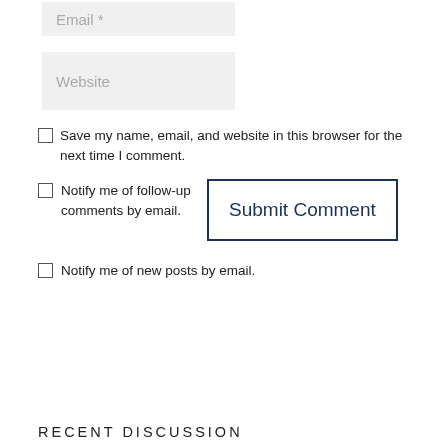[Figure (screenshot): Email input field placeholder showing 'Email *' on light gray background]
[Figure (screenshot): Website input field placeholder showing 'Website' on light gray background]
Save my name, email, and website in this browser for the next time I comment.
Notify me of follow-up comments by email.
Submit Comment
Notify me of new posts by email.
RECENT DISCUSSION